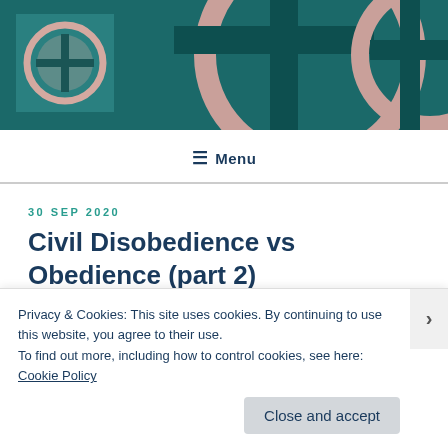[Figure (other): Website header banner with teal/dark teal background. Left side shows a small logo square with teal background featuring a circle-cross symbol. Right side shows large decorative versions of the same circle-cross symbol in muted pink and dark teal.]
≡ Menu
30 SEP 2020
Civil Disobedience vs Obedience (part 2)
Privacy & Cookies: This site uses cookies. By continuing to use this website, you agree to their use.
To find out more, including how to control cookies, see here: Cookie Policy
Close and accept